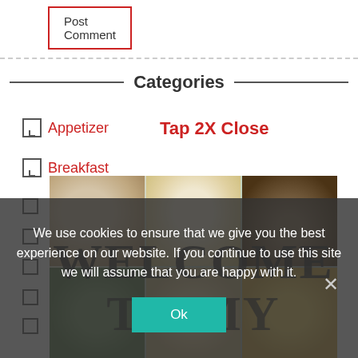Post Comment
Categories
Appetizer
Tap 2X Close
Breakfast
[Figure (photo): Food collage showing bowls of oatmeal/grain, a bread roll, dark chocolate cake with berries, greens, and other dishes. Overlaid text reads WELCOME TO MY NEW SITE]
We use cookies to ensure that we give you the best experience on our website. If you continue to use this site we will assume that you are happy with it.
Ok